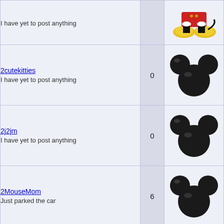| User | Posts | Avatar |
| --- | --- | --- |
| I have yet to post anything |  | Mickey Mouse feet image (partial) |
| 2cutekitties
I have yet to post anything | 0 | Mickey head silhouette |
| 2j2jm
I have yet to post anything | 0 | Mickey head silhouette |
| 2MouseMom
Just parked the car | 6 | Mickey head silhouette |
| 2plus2equalsus
I have yet to post anything | 0 | Minnie Mouse image |